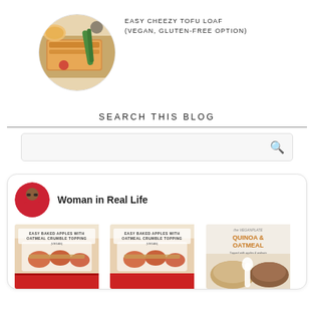[Figure (photo): Circular thumbnail of a baked tofu loaf dish with vegetables]
EASY CHEEZY TOFU LOAF (VEGAN, GLUTEN-FREE OPTION)
SEARCH THIS BLOG
[Figure (screenshot): Search box input field with magnifying glass icon]
[Figure (infographic): Social card for Woman in Real Life with avatar and three food image thumbnails including Easy Baked Apples with Oatmeal Crumble Topping and Vegan Plate Quinoa & Oatmeal topped with apples and walnuts]